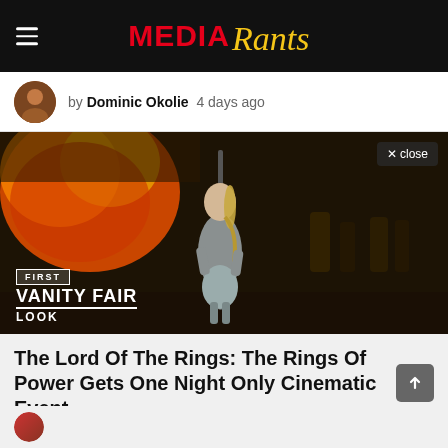MEDIA Rants
by Dominic Okolie  4 days ago
[Figure (photo): A female warrior character in silver armor holding a staff, standing amid flames and smoke. Overlaid text reads FIRST VANITY FAIR LOOK. A close button is visible in the top right corner.]
The Lord Of The Rings: The Rings Of Power Gets One Night Only Cinematic Event